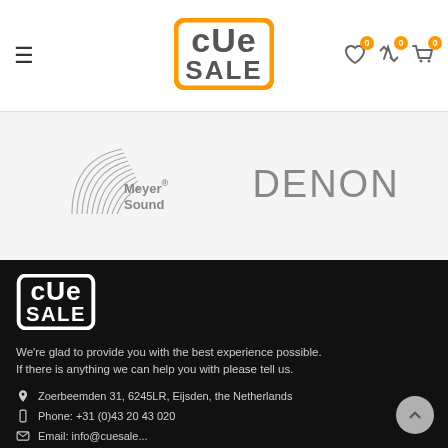CUE SALE — navigation header with hamburger menu, logo, and icons (wishlist 0, compare 0, cart 0)
[Figure (logo): Meyer Sound logo — stylized arc lines with 'Meyer Sound' text in grey]
[Figure (logo): DENON logo — grey sans-serif uppercase text]
[Figure (logo): CUE SALE white logo on dark background]
We're glad to provide you with the best experience possible. If there is anything we can help you with please tell us.
Zoerbeemden 31, 6245LR, Eijsden, the Netherlands
Phone: +31 (0)43 20 43 020
Email: info@cuesale...